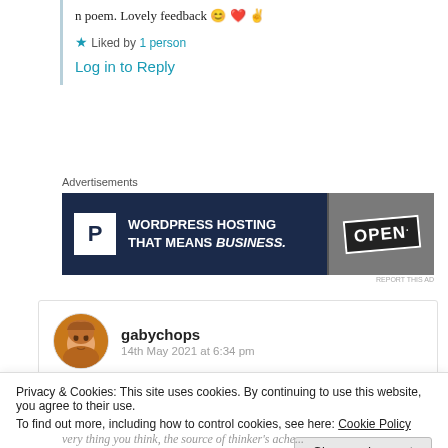n poem. Lovely feedback 😊 ❤️ ✌️
★ Liked by 1 person
Log in to Reply
Advertisements
[Figure (other): WordPress hosting advertisement banner: dark navy background with 'P' logo box and text 'WORDPRESS HOSTING THAT MEANS BUSINESS.' beside an OPEN sign image]
[Figure (photo): Circular avatar photo of gabychops user with short reddish-brown hair]
gabychops
14th May 2021 at 6:34 pm
Privacy & Cookies: This site uses cookies. By continuing to use this website, you agree to their use.
To find out more, including how to control cookies, see here: Cookie Policy
Close and accept
very thing you think, the source of thinker's ache...